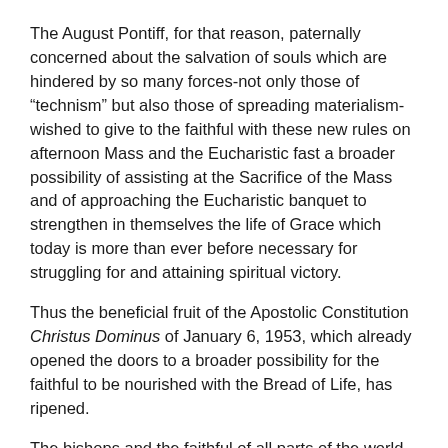The August Pontiff, for that reason, paternally concerned about the salvation of souls which are hindered by so many forces-not only those of “technism” but also those of spreading materialism-wished to give to the faithful with these new rules on afternoon Mass and the Eucharistic fast a broader possibility of assisting at the Sacrifice of the Mass and of approaching the Eucharistic banquet to strengthen in themselves the life of Grace which today is more than ever before necessary for struggling for and attaining spiritual victory.
Thus the beneficial fruit of the Apostolic Constitution Christus Dominus of January 6, 1953, which already opened the doors to a broader possibility for the faithful to be nourished with the Bread of Life, has ripened.
The bishops and the faithful of all parts of the world did not fail to show their immense gratitude to the Holy Father who now wishes to accede to their ultimate petitions, in that way demonstrating the intimacy of the correspondence between the Chief Shepherd and the sheep of the universal flock. This also shows how the Church, justly severe and inflexible where